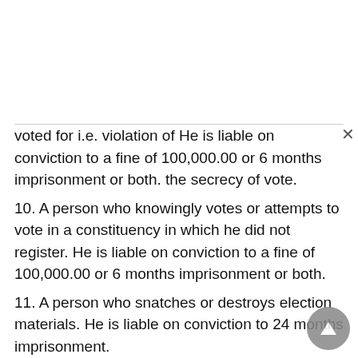voted for i.e. violation of He is liable on conviction to a fine of 100,000.00 or 6 months imprisonment or both. the secrecy of vote.
10. A person who knowingly votes or attempts to vote in a constituency in which he did not register. He is liable on conviction to a fine of 100,000.00 or 6 months imprisonment or both.
11. A person who snatches or destroys election materials. He is liable on conviction to 24 months imprisonment.
12. A. person who commits an offence of bribery or aids, conspires or abets any other person to commit bribery. He is liable on conviction to a fine of